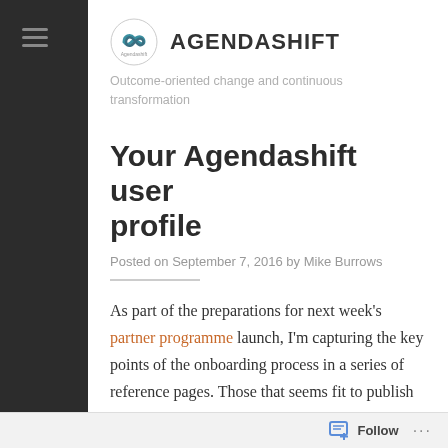[Figure (logo): Agendashift logo with infinity symbol and site name AGENDASHIFT]
Outcome-oriented change and continuous transformation
Your Agendashift user profile
Posted on September 7, 2016 by Mike Burrows
As part of the preparations for next week's partner programme launch, I'm capturing the key points of the onboarding process in a series of reference pages. Those that seems fit to publish I'll